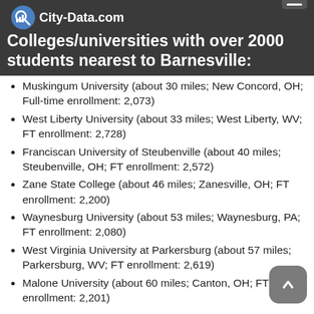City-Data.com
Colleges/universities with over 2000 students nearest to Barnesville:
Muskingum University (about 30 miles; New Concord, OH; Full-time enrollment: 2,073)
West Liberty University (about 33 miles; West Liberty, WV; FT enrollment: 2,728)
Franciscan University of Steubenville (about 40 miles; Steubenville, OH; FT enrollment: 2,572)
Zane State College (about 46 miles; Zanesville, OH; FT enrollment: 2,200)
Waynesburg University (about 53 miles; Waynesburg, PA; FT enrollment: 2,080)
West Virginia University at Parkersburg (about 57 miles; Parkersburg, WV; FT enrollment: 2,619)
Malone University (about 60 miles; Canton, OH; FT enrollment: 2,201)